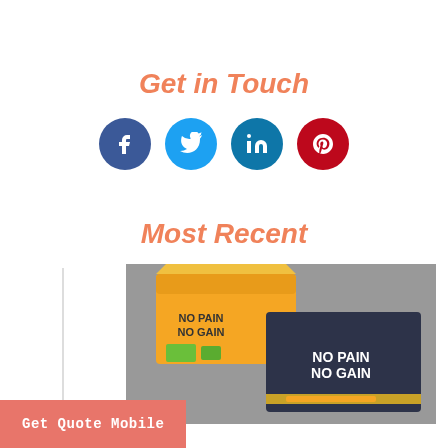Get in Touch
[Figure (infographic): Four social media icons in circles: Facebook (dark blue), Twitter (light blue), LinkedIn (teal blue), Pinterest (red)]
Most Recent
[Figure (photo): Product packaging mockup showing yellow mailer boxes and a dark navy card with 'NO PAIN NO GAIN' text in bold white letters, with green items visible inside the box, on a gray background]
Get Quote Mobile